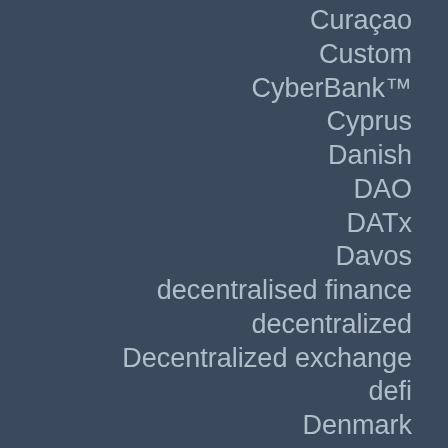Curaçao
Custom
CyberBank™
Cyprus
Danish
DAO
DATx
Davos
decentralised finance
decentralized
Decentralized exchange
defi
Denmark
deterministic